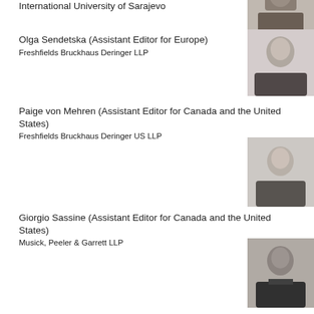International University of Sarajevo
[Figure (photo): Headshot photo of person 1, black and white]
Olga Sendetska (Assistant Editor for Europe)
Freshfields Bruckhaus Deringer LLP
[Figure (photo): Headshot photo of Olga Sendetska, black and white]
Paige von Mehren (Assistant Editor for Canada and the United States)
Freshfields Bruckhaus Deringer US LLP
[Figure (photo): Headshot photo of Paige von Mehren, black and white]
Giorgio Sassine (Assistant Editor for Canada and the United States)
Musick, Peeler & Garrett LLP
[Figure (photo): Headshot photo of Giorgio Sassine, black and white]
Aecio Filipe Oliveira (Assistant Editor for South and Central America)
Barbosa, Müssnich & Aragão Advogados – BMA
[Figure (photo): Headshot photo of Aecio Filipe Oliveira, black and white]